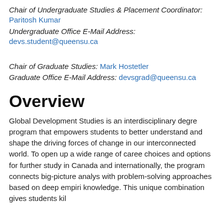Chair of Undergraduate Studies & Placement Coordinator:
Paritosh Kumar
Undergraduate Office E-Mail Address:
devs.student@queensu.ca
Chair of Graduate Studies: Mark Hostetler
Graduate Office E-Mail Address: devsgrad@queensu.ca
Overview
Global Development Studies is an interdisciplinary degree program that empowers students to better understand and shape the driving forces of change in our interconnected world. To open up a wide range of career choices and options for further study in Canada and internationally, the program connects big-picture analysis with problem-solving approaches based on deep empirical knowledge. This unique combination gives students kill